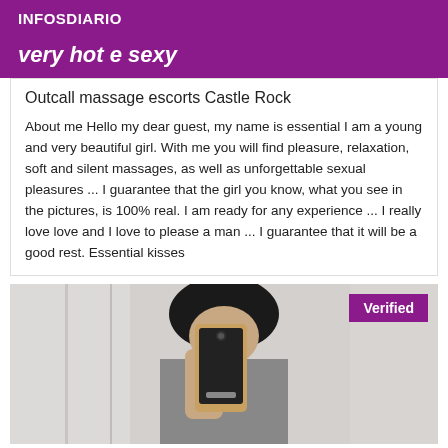INFOSDIARIO
very hot e sexy
Outcall massage escorts Castle Rock
About me Hello my dear guest, my name is essential I am a young and very beautiful girl. With me you will find pleasure, relaxation, soft and silent massages, as well as unforgettable sexual pleasures ... I guarantee that the girl you know, what you see in the pictures, is 100% real. I am ready for any experience ... I really love love and I love to please a man ... I guarantee that it will be a good rest. Essential kisses
[Figure (photo): Woman taking a selfie in a mirror, holding a gold/bronze Samsung smartphone. She has dark hair. A purple 'Verified' badge is in the top right corner of the image.]